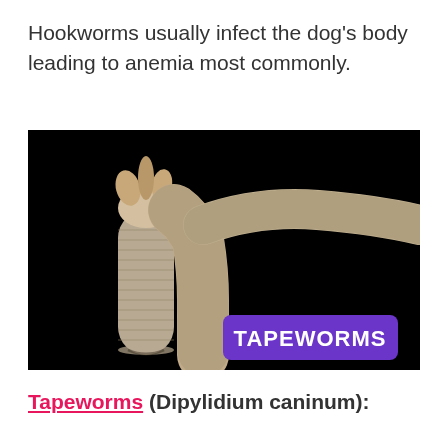Hookworms usually infect the dog's body leading to anemia most commonly.
[Figure (photo): Close-up macro photograph of tapeworms against a black background, showing segmented worm bodies. A purple/violet rectangular label overlay reads 'TAPEWORMS' in bold white text.]
Tapeworms (Dipylidium caninum):